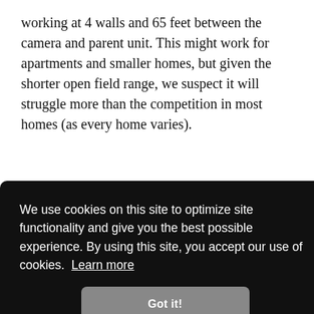working at 4 walls and 65 feet between the camera and parent unit. This might work for apartments and smaller homes, but given the shorter open field range, we suspect it will struggle more than the competition in most homes (as every home varies).
We use cookies on this site to optimize site functionality and give you the best possible experience. By using this site, you accept our use of cookies. Learn more
Got it!
Credit: Abriah Wofford